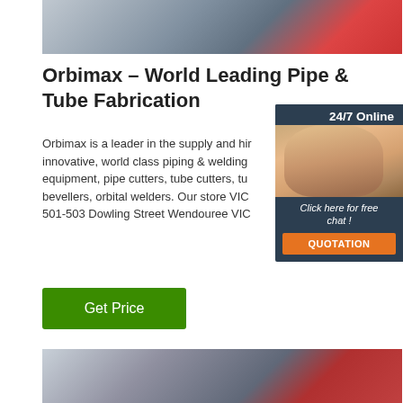[Figure (photo): Industrial pipe/tube fabrication equipment with red and blue components on a workshop floor]
Orbimax – World Leading Pipe & Tube Fabrication
Orbimax is a leader in the supply and hire of innovative, world class piping & welding equipment, pipe cutters, tube cutters, tube bevellers, orbital welders. Our store VIC 501-503 Dowling Street Wendouree VIC
[Figure (photo): 24/7 Online chat widget with a smiling female customer service agent wearing a headset, with a 'Click here for free chat!' message and QUOTATION button]
[Figure (photo): Industrial pipe cutting or fabrication machine in a workshop setting, with red machinery components]
[Figure (photo): Get Price button - green call to action button]